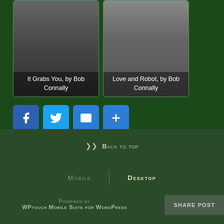[Figure (photo): Card image for 'It Grabs You, by Bob Connally' - dark horror-themed image with a sinister smiling face]
It Grabs You, by Bob Connally
[Figure (photo): Card image for 'Love and Robot, by Bob Connally' - image of a man sitting]
Love and Robot, by Bob Connally
[Figure (infographic): Social sharing buttons: Facebook, Twitter, Email, More (+)]
Back to top
MOBILE | DESKTOP
Powered by
WPtouch Mobile Suite for WordPress
SHARE POST